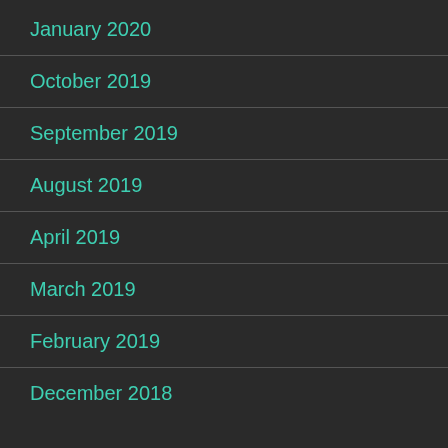January 2020
October 2019
September 2019
August 2019
April 2019
March 2019
February 2019
December 2018